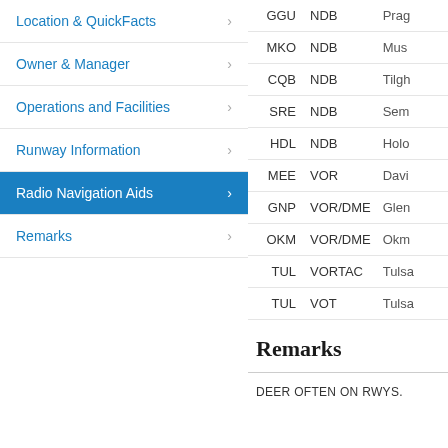Location & QuickFacts
Owner & Manager
Operations and Facilities
Runway Information
Radio Navigation Aids
Remarks
| ID | Type | Name |
| --- | --- | --- |
| GGU | NDB | Prag... |
| MKO | NDB | Musk... |
| CQB | NDB | Tilgh... |
| SRE | NDB | Sem... |
| HDL | NDB | Holo... |
| MEE | VOR | Davi... |
| GNP | VOR/DME | Glen... |
| OKM | VOR/DME | Okm... |
| TUL | VORTAC | Tulsa... |
| TUL | VOT | Tulsa... |
Remarks
DEER OFTEN ON RWYS.